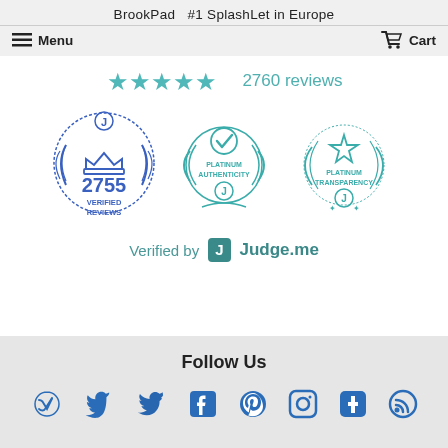BrookPad  #1 SplashLet in Europe
Menu   Cart
[Figure (other): Five teal/green star rating icons followed by '2760 reviews' text]
[Figure (other): Three circular badges: '2755 Verified Reviews' in blue with crown and laurel wreath; 'Platinum Authenticity' in teal with laurel wreath and checkmark; 'Platinum Transparency' in teal with star and laurel wreath]
Verified by  J  Judge.me
Follow Us
[Figure (other): Social media icons: Twitter, Facebook, Pinterest, Instagram, Tumblr, RSS feed — all in blue/teal]